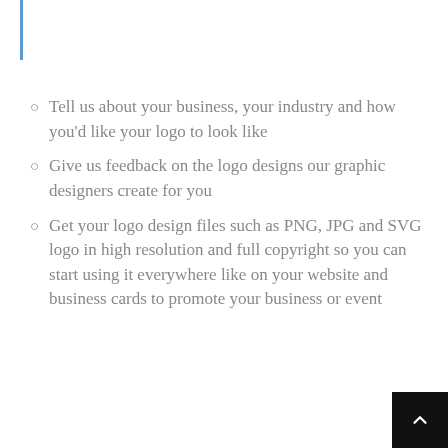Tell us about your business, your industry and how you'd like your logo to look like
Give us feedback on the logo designs our graphic designers create for you
Get your logo design files such as PNG, JPG and SVG logo in high resolution and full copyright so you can start using it everywhere like on your website and business cards to promote your business or event